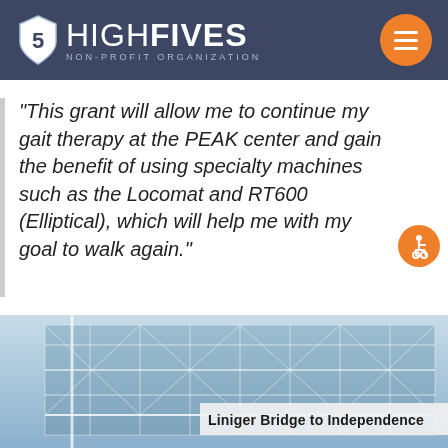HIGH FIVES NON-PROFIT ORGANIZATION
"This grant will allow me to continue my gait therapy at the PEAK center and gain the benefit of using specialty machines such as the Locomat and RT600 (Elliptical), which will help me with my goal to walk again."
[Figure (photo): Exterior photo of a glass building with a sign reading 'Liniger Bridge to Independence']